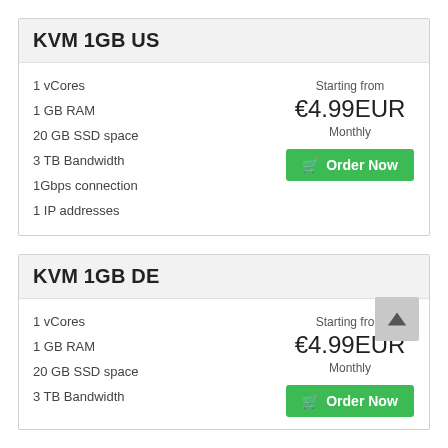KVM 1GB US
1 vCores
1 GB RAM
20 GB SSD space
3 TB Bandwidth
1Gbps connection
1 IP addresses
Starting from
€4.99EUR
Monthly
Order Now
KVM 1GB DE
1 vCores
1 GB RAM
20 GB SSD space
3 TB Bandwidth
Starting from
€4.99EUR
Monthly
Order Now